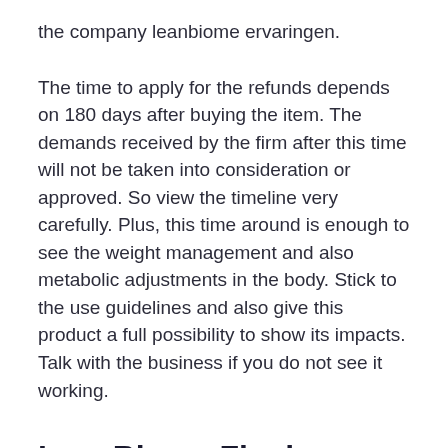the company leanbiome ervaringen.
The time to apply for the refunds depends on 180 days after buying the item. The demands received by the firm after this time will not be taken into consideration or approved. So view the timeline very carefully. Plus, this time around is enough to see the weight management and also metabolic adjustments in the body. Stick to the use guidelines and also give this product a full possibility to show its impacts. Talk with the business if you do not see it working.
LeanBiome Final Remarks
LeanBiome capsules aim to improve the existence